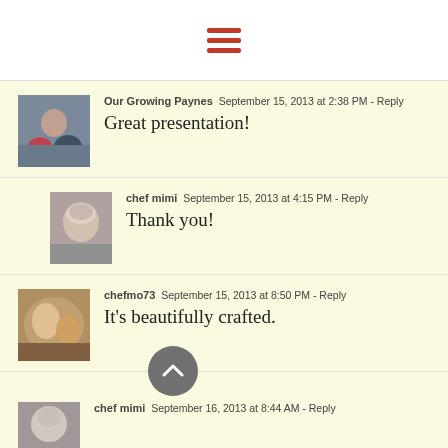Navigation menu (hamburger icon)
Our Growing Paynes  September 15, 2013 at 2:38 PM - Reply
Great presentation!
chef mimi  September 15, 2013 at 4:15 PM - Reply
Thank you!
chefmo73  September 15, 2013 at 8:50 PM - Reply
It's beautifully crafted.
chef mimi  September 16, 2013 at 8:44 AM - Reply